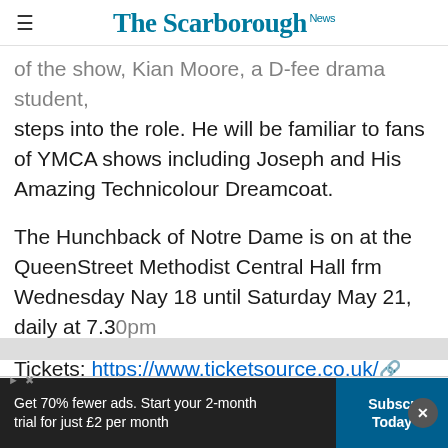The Scarborough News
of the show, Kian Moore, a D-fee drama student, steps into the role. He will be familiar to fans of YMCA shows including Joseph and His Amazing Technicolour Dreamcoat.
The Hunchback of Notre Dame is on at the QueenStreet Methodist Central Hall frm Wednesday Nay 18 until Saturday May 21, daily at 7.30pm
Tickets: https://www.ticketsource.co.uk/...
[Figure (screenshot): Petco advertisement banner: 'Your One-Stop Summer Pet Shop - Petco' with blue Petco logo and blue diamond navigation icon]
[Figure (screenshot): Subscribe banner: 'Get 70% fewer ads. Start your 2-month trial for just £2 per month' with 'Subscribe Today' button and close X button]